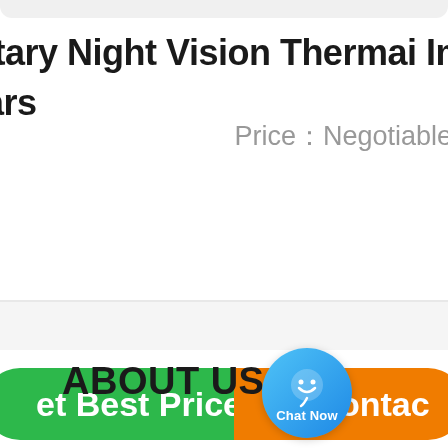itary Night Vision Thermal Imaging Binoculars
Price：Negotiable
[Figure (screenshot): Green 'Get Best Price' button, blue chat bubble with 'Chat Now', and orange 'Contact' button]
ABOUT US